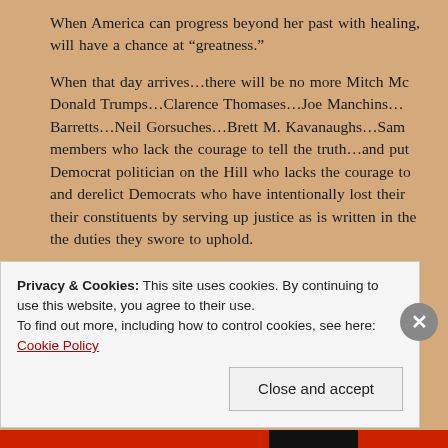When America can progress beyond her past with healing, she will have a chance at “greatness.”
When that day arrives…there will be no more Mitch McConnells, Donald Trumps…Clarence Thomases…Joe Manchins…Barrett…Barretts…Neil Gorsuches…Brett M. Kavanaughs…Samu… members who lack the courage to tell the truth…and put every Democrat politician on the Hill who lacks the courage to… and derelict Democrats who have intentionally lost their constituents by serving up justice as is written in the… the duties they swore to uphold.
Democracy is threatened by the lack of courage in politics… Constitution…by deliberately failing it…and creating…
Privacy & Cookies: This site uses cookies. By continuing to use this website, you agree to their use.
To find out more, including how to control cookies, see here: Cookie Policy